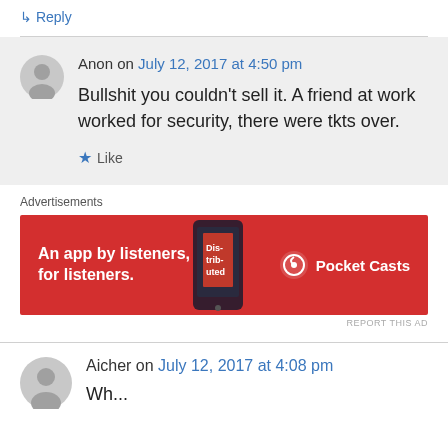↳ Reply
Anon on July 12, 2017 at 4:50 pm
Bullshit you couldn't sell it. A friend at work worked for security, there were tkts over.
★ Like
Advertisements
[Figure (other): Pocket Casts advertisement banner: red background with phone image, text 'An app by listeners, for listeners.' and Pocket Casts logo]
REPORT THIS AD
Aicher on July 12, 2017 at 4:08 pm
Wh...